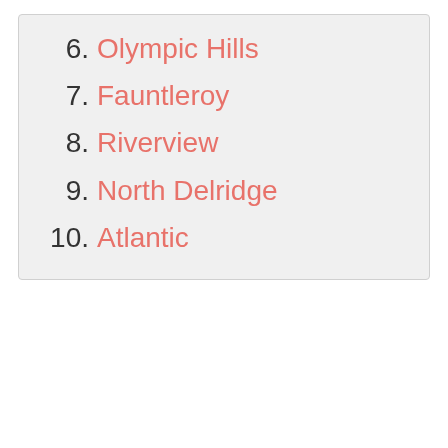6. Olympic Hills
7. Fauntleroy
8. Riverview
9. North Delridge
10. Atlantic